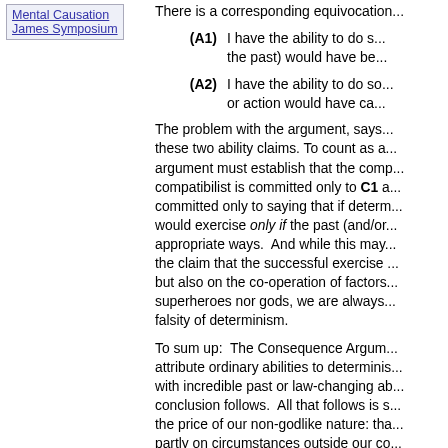Mental Causation
James Symposium
There is a corresponding equivocation...
(A1) I have the ability to do s... the past) would have be...
(A2) I have the ability to do so... or action would have ca...
The problem with the argument, says... these two ability claims. To count as a... argument must establish that the comp... compatibilist is committed only to C1 a... committed only to saying that if determ... would exercise only if the past (and/or... appropriate ways.  And while this may... the claim that the successful exercise... but also on the co-operation of factors... superheroes nor gods, we are always... falsity of determinism.
To sum up:  The Consequence Argum... attribute ordinary abilities to determinis... with incredible past or law-changing ab... conclusion follows.  All that follows is s... the price of our non-godlike nature: tha... partly on circumstances outside our co...
Bibliography
Fischer, 2008, "Freedom, Foreknowledge an...